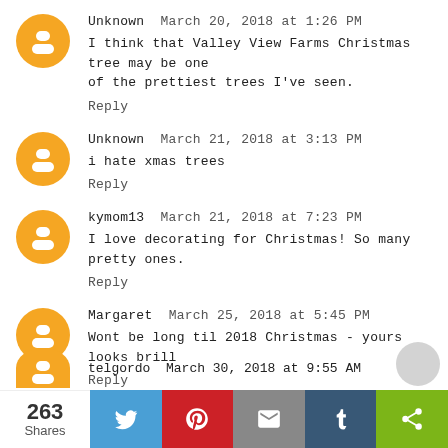Unknown  March 20, 2018 at 1:26 PM
I think that Valley View Farms Christmas tree may be one of the prettiest trees I've seen.
Reply
Unknown  March 21, 2018 at 3:13 PM
i hate xmas trees
Reply
kymom13  March 21, 2018 at 7:23 PM
I love decorating for Christmas! So many pretty ones.
Reply
Margaret  March 25, 2018 at 5:45 PM
Wont be long til 2018 Christmas - yours looks brill
Reply
telgordo  March 30, 2018 at 9:55 AM
263 Shares